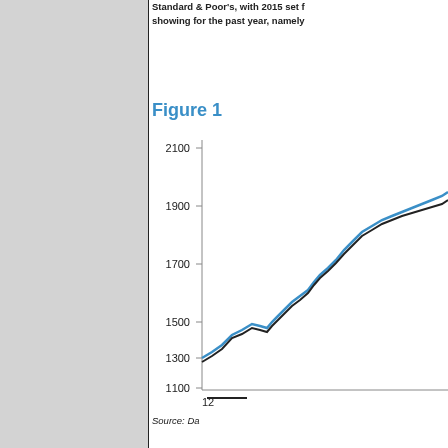[Figure (illustration): Large grey rectangle panel on left side of page]
Standard & Poor's, with 2015 set f... showing for the past year, namely
Figure 1
[Figure (continuous-plot): Line chart showing S&P 500 index values over time, y-axis from 1100 to 2100, x-axis starting at 12, two lines (black and blue) rising from approximately 1200 to above 2000]
Source: Da